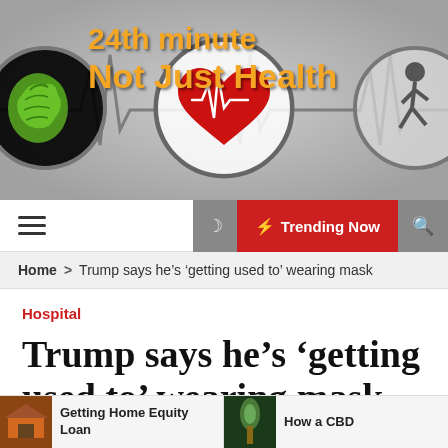[Figure (logo): Website banner for '24th minute Not Just Health' with heartbeat ECG line graphic, circular icons showing brain, heart, and running figure icons on grey background]
☰  ☽  ⚡ Trending Now  🔍
Home > Trump says he's 'getting used to' wearing mask
Hospital
Trump says he's 'getting used to' wearing mask
Getting Home Equity Loan | How a CBD